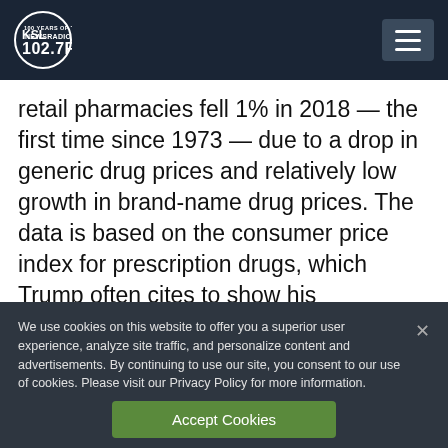KSL NewsRadio 102.7FM
retail pharmacies fell 1% in 2018 — the first time since 1973 — due to a drop in generic drug prices and relatively low growth in brand-name drug prices. The data is based on the consumer price index for prescription drugs, which Trump often cites to show his
We use cookies on this website to offer you a superior user experience, analyze site traffic, and personalize content and advertisements. By continuing to use our site, you consent to our use of cookies. Please visit our Privacy Policy for more information.
Accept Cookies